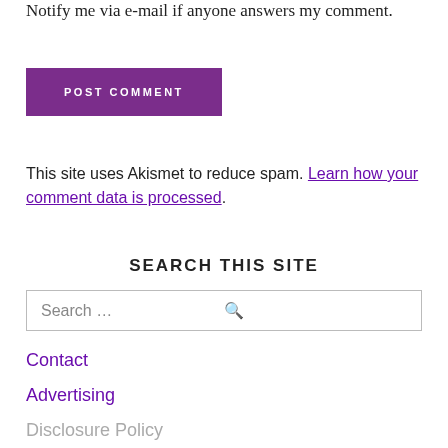Notify me via e-mail if anyone answers my comment.
POST COMMENT
This site uses Akismet to reduce spam. Learn how your comment data is processed.
SEARCH THIS SITE
Search …
Contact
Advertising
Disclosure Policy